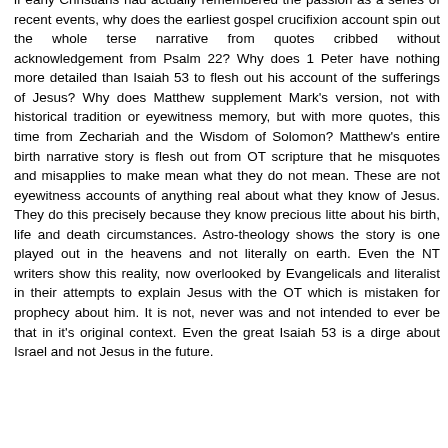if early Christians had actually remembered the passion as a series of recent events, why does the earliest gospel crucifixion account spin out the whole terse narrative from quotes cribbed without acknowledgement from Psalm 22? Why does 1 Peter have nothing more detailed than Isaiah 53 to flesh out his account of the sufferings of Jesus? Why does Matthew supplement Mark's version, not with historical tradition or eyewitness memory, but with more quotes, this time from Zechariah and the Wisdom of Solomon? Matthew's entire birth narrative story is flesh out from OT scripture that he misquotes and misapplies to make mean what they do not mean. These are not eyewitness accounts of anything real about what they know of Jesus. They do this precisely because they know precious litte about his birth, life and death circumstances. Astro-theology shows the story is one played out in the heavens and not literally on earth. Even the NT writers show this reality, now overlooked by Evangelicals and literalist in their attempts to explain Jesus with the OT which is mistaken for prophecy about him. It is not, never was and not intended to ever be that in it's original context. Even the great Isaiah 53 is a dirge about Israel and not Jesus in the future.